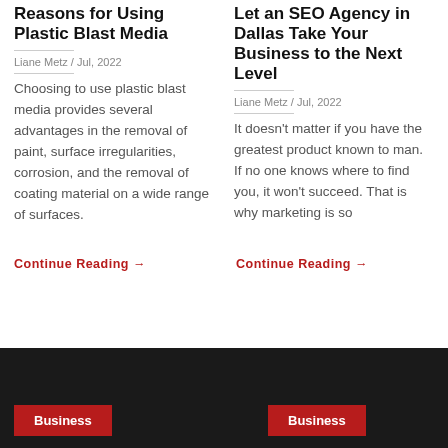Reasons for Using Plastic Blast Media
Liane Metz / Jul, 2022
Choosing to use plastic blast media provides several advantages in the removal of paint, surface irregularities, corrosion, and the removal of coating material on a wide range of surfaces.
Continue Reading →
Let an SEO Agency in Dallas Take Your Business to the Next Level
Liane Metz / Jul, 2022
It doesn't matter if you have the greatest product known to man. If no one knows where to find you, it won't succeed. That is why marketing is so
Continue Reading →
Business
Business